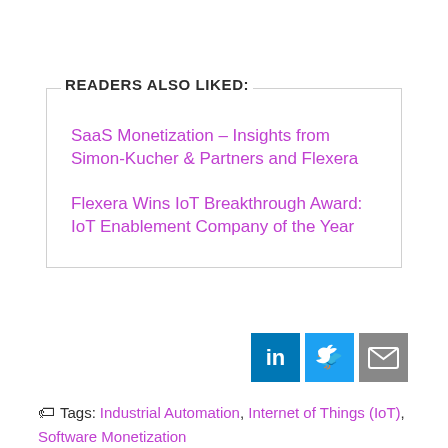READERS ALSO LIKED:
SaaS Monetization – Insights from Simon-Kucher & Partners and Flexera
Flexera Wins IoT Breakthrough Award: IoT Enablement Company of the Year
[Figure (infographic): Social sharing icons: LinkedIn (blue), Twitter (light blue), Email (grey)]
Tags: Industrial Automation, Internet of Things (IoT), Software Monetization